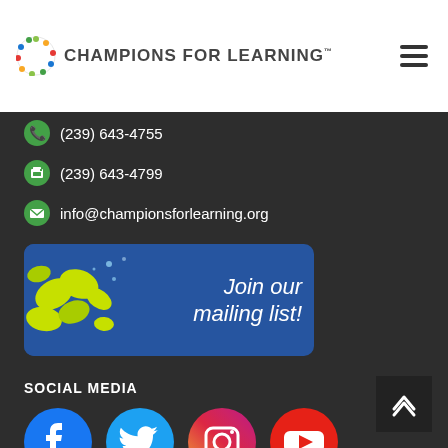Champions For Learning™
(239) 643-4755
(239) 643-4799
info@championsforlearning.org
[Figure (illustration): Blue rounded banner with green leaf graphics on left and italic white text 'Join our mailing list!' on right]
SOCIAL MEDIA
[Figure (illustration): Four social media icons in a row: Facebook (blue circle with f), Twitter (light blue circle with bird), Instagram (gradient circle with camera), YouTube (red circle with play button)]
[Figure (logo): Collier Cares logo on white rectangle background with colorful sunburst graphic]